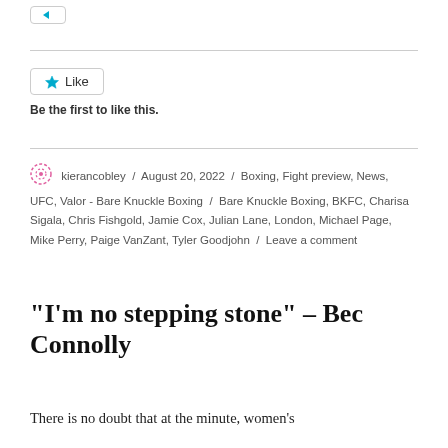[Figure (other): Navigation button with left arrow icon]
[Figure (other): Like button with star icon and 'Like' label, followed by text 'Be the first to like this.']
kierancobley / August 20, 2022 / Boxing, Fight preview, News, UFC, Valor - Bare Knuckle Boxing / Bare Knuckle Boxing, BKFC, Charisa Sigala, Chris Fishgold, Jamie Cox, Julian Lane, London, Michael Page, Mike Perry, Paige VanZant, Tyler Goodjohn / Leave a comment
“I’m no stepping stone” – Bec Connolly
There is no doubt that at the minute, women’s